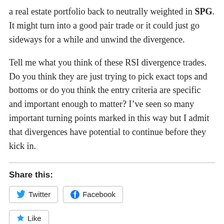a real estate portfolio back to neutrally weighted in SPG. It might turn into a good pair trade or it could just go sideways for a while and unwind the divergence.
Tell me what you think of these RSI divergence trades. Do you think they are just trying to pick exact tops and bottoms or do you think the entry criteria are specific and important enough to matter? I've seen so many important turning points marked in this way but I admit that divergences have potential to continue before they kick in.
Share this:
Twitter  Facebook
Like
Be the first to like this.